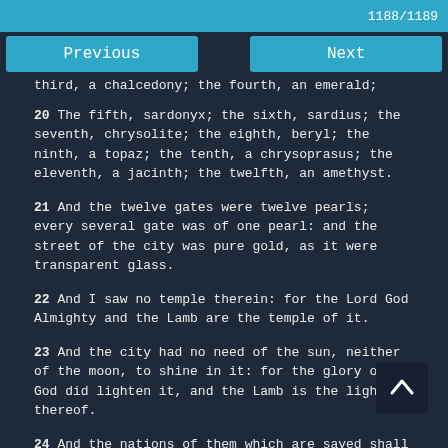1188/1189
Previous    Next
third, a chalcedony; the fourth, an emerald;
20 The fifth, sardonyx; the sixth, sardius; the seventh, chrysolite; the eighth, beryl; the ninth, a topaz; the tenth, a chrysoprasus; the eleventh, a jacinth; the twelfth, an amethyst.
21 And the twelve gates were twelve pearls; every several gate was of one pearl: and the street of the city was pure gold, as it were transparent glass.
22 And I saw no temple therein: for the Lord God Almighty and the Lamb are the temple of it.
23 And the city had no need of the sun, neither of the moon, to shine in it: for the glory of God did lighten it, and the Lamb is the light thereof.
24 And the nations of them which are saved shall walk in the light of it: and the kings of the earth do bring their glory and honour into it.
25 And the gates of it shall not be shut at all by day: for there shall be no night there.